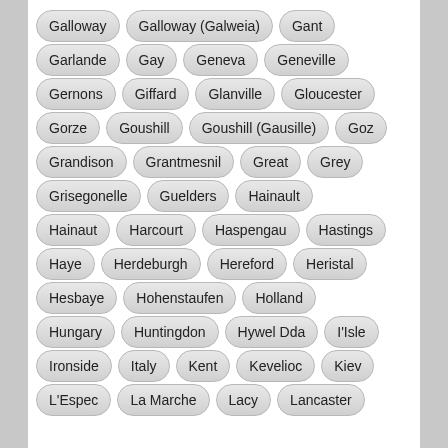Galloway
Galloway (Galweia)
Gant
Garlande
Gay
Geneva
Geneville
Gernons
Giffard
Glanville
Gloucester
Gorze
Goushill
Goushill (Gausille)
Goz
Grandison
Grantmesnil
Great
Grey
Grisegonelle
Guelders
Hainault
Hainaut
Harcourt
Haspengau
Hastings
Haye
Herdeburgh
Hereford
Heristal
Hesbaye
Hohenstaufen
Holland
Hungary
Huntingdon
Hywel Dda
I'Isle
Ironside
Italy
Kent
Kevelioc
Kiev
L'Espec
La Marche
Lacy
Lancaster